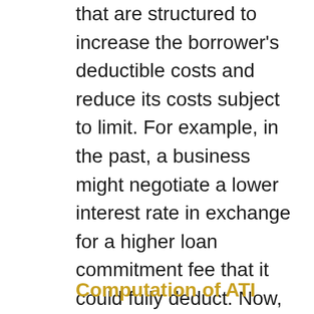that are structured to increase the borrower's deductible costs and reduce its costs subject to limit. For example, in the past, a business might negotiate a lower interest rate in exchange for a higher loan commitment fee that it could fully deduct. Now, however, that fee could be considered interest expense. The impact will, of course, be greater as a company takes on more debt or interest rates edge higher.
Computation of ATI